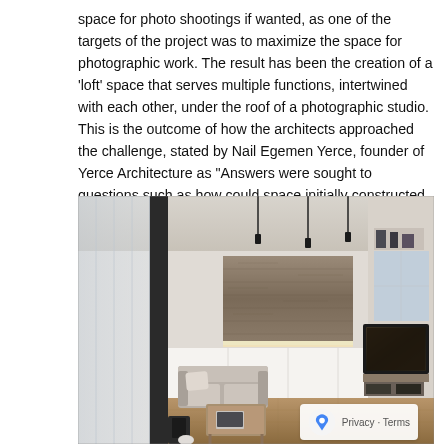space for photo shootings if wanted, as one of the targets of the project was to maximize the space for photographic work. The result has been the creation of a 'loft' space that serves multiple functions, intertwined with each other, under the roof of a photographic studio. This is the outcome of how the architects approached the challenge, stated by Nail Egemen Yerce, founder of Yerce Architecture as "Answers were sought to questions such as how could space initially constructed as a typical, standard apartment be transformed into a multifunctional area serving different functions and forms of living while maintaining permeability within these functions."
[Figure (photo): Interior photograph of a modern loft apartment showing a living area with a sofa, coffee table, wooden flooring, a large wall-mounted TV, built-in shelving, a textured stone/brick accent wall with ambient LED lighting, white cabinetry, and translucent glass partition panels on the left. A dark vertical structural column is visible in the foreground.]